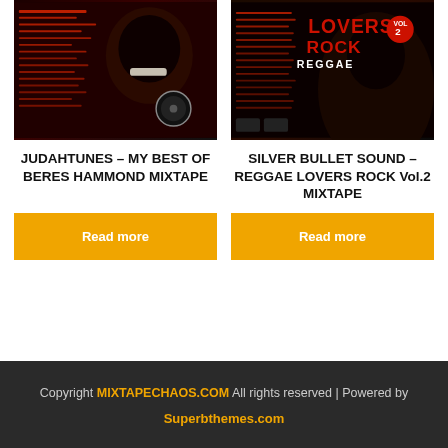[Figure (photo): Mixtape cover for Judah Tunes - My Best of Beres Hammond Mixtape, dark red/black background with person's face and tracklist text]
JUDAHTUNES – MY BEST OF BERES HAMMOND MIXTAPE
Read more
[Figure (photo): Mixtape cover for Silver Bullet Sound – Reggae Lovers Rock Vol.2 Mixtape with stylized text and tracklist on dark background]
SILVER BULLET SOUND – REGGAE LOVERS ROCK Vol.2 MIXTAPE
Read more
Copyright MIXTAPECHAOS.COM All rights reserved | Powered by Superbthemes.com